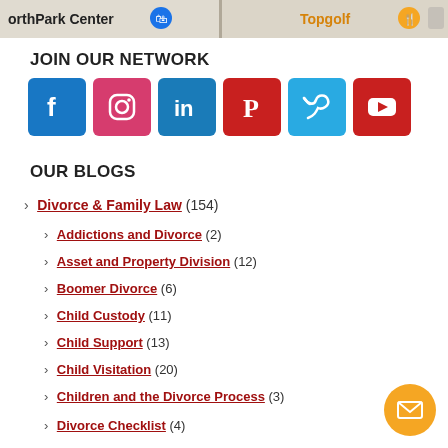[Figure (screenshot): Google Maps strip showing NorthPark Center and Topgolf locations]
JOIN OUR NETWORK
[Figure (infographic): Social media icons: Facebook, Instagram, LinkedIn, Pinterest, Twitter, YouTube]
OUR BLOGS
Divorce & Family Law (154)
Addictions and Divorce (2)
Asset and Property Division (12)
Boomer Divorce (6)
Child Custody (11)
Child Support (13)
Child Visitation (20)
Children and the Divorce Process (3)
Divorce Checklist (4)